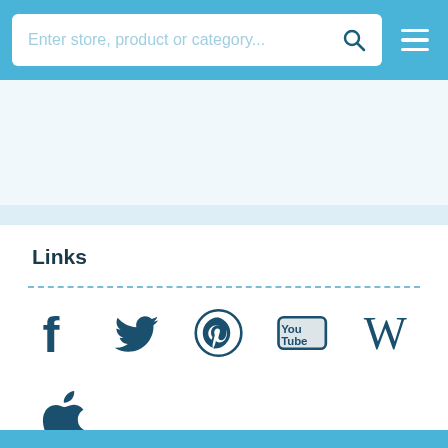Enter store, product or category...
Links
[Figure (logo): Social media and reference icons: Facebook, Twitter, Pinterest, YouTube, Wikipedia, Apple]